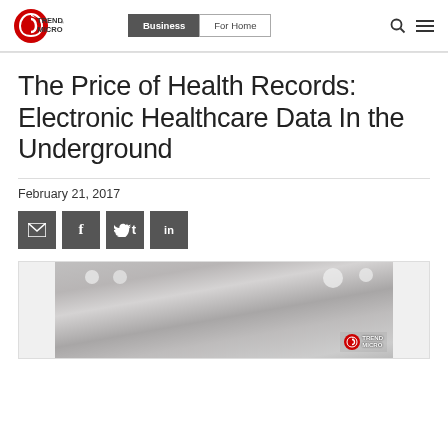[Figure (logo): Trend Micro logo — red circular icon with arrow and text TREND MICRO]
Business | For Home
The Price of Health Records: Electronic Healthcare Data In the Underground
February 21, 2017
[Figure (infographic): Social sharing buttons: email, Facebook, Twitter, LinkedIn]
[Figure (photo): Interior office/healthcare facility photo showing ceiling lights, with Trend Micro watermark logo in lower right corner]